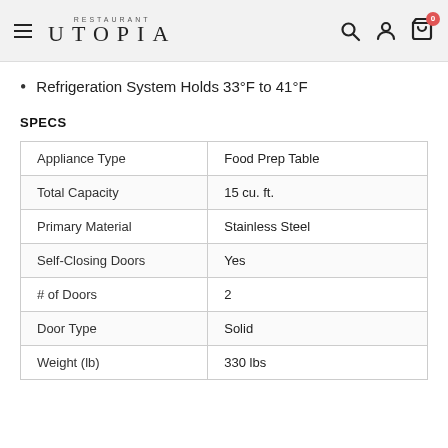Restaurant Utopia
Refrigeration System Holds 33°F to 41°F
SPECS
|  |  |
| --- | --- |
| Appliance Type | Food Prep Table |
| Total Capacity | 15 cu. ft. |
| Primary Material | Stainless Steel |
| Self-Closing Doors | Yes |
| # of Doors | 2 |
| Door Type | Solid |
| Weight (lb) | 330 lbs |